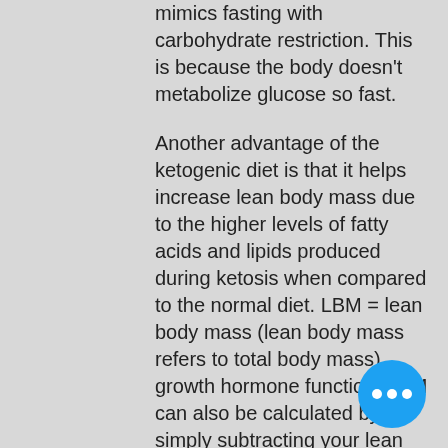mimics fasting with carbohydrate restriction. This is because the body doesn't metabolize glucose so fast.
Another advantage of the ketogenic diet is that it helps increase lean body mass due to the higher levels of fatty acids and lipids produced during ketosis when compared to the normal diet. LBM = lean body mass (lean body mass refers to total body mass), growth hormone function. LBM can also be calculated by simply subtracting your lean body mass from your height, human growth hormone effects on body.
Because you don't need protein and you lose fat to build muscle, the ketogenic diet will also encourage your body to lose fat quickly and efficiently. As long as you can stick